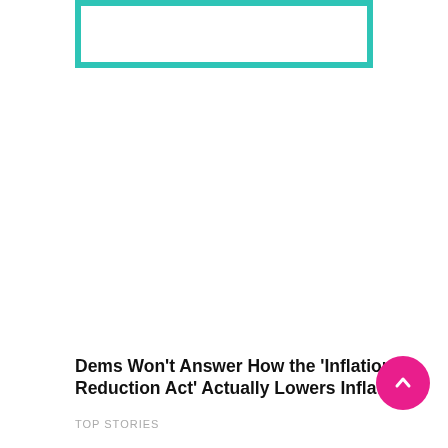[Figure (other): Teal/turquoise bordered rectangle placeholder for an image at the top of the page]
Dems Won’t Answer How the ‘Inflation Reduction Act’ Actually Lowers Inflation
TOP STORIES